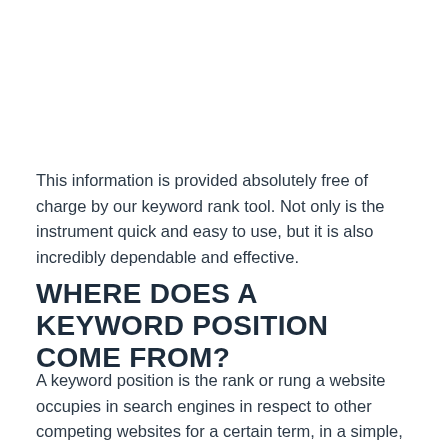This information is provided absolutely free of charge by our keyword rank tool. Not only is the instrument quick and easy to use, but it is also incredibly dependable and effective.
WHERE DOES A KEYWORD POSITION COME FROM?
A keyword position is the rank or rung a website occupies in search engines in respect to other competing websites for a certain term, in a simple, straightforward description.